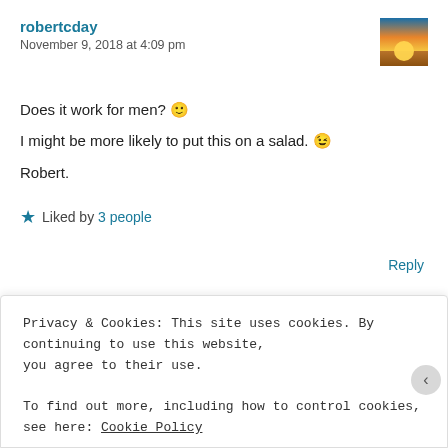robertcday
November 9, 2018 at 4:09 pm
[Figure (photo): Avatar thumbnail showing a sunset over a landscape with orange and yellow sky]
Does it work for men? 🙂
I might be more likely to put this on a salad. 😉
Robert.
★ Liked by 3 people
Reply
Privacy & Cookies: This site uses cookies. By continuing to use this website, you agree to their use.
To find out more, including how to control cookies, see here: Cookie Policy
Close and accept